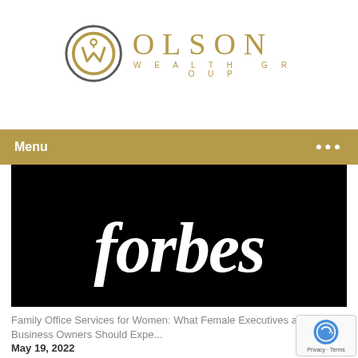[Figure (logo): Olson Wealth Group logo with circular OWG monogram and gold text]
Menu ···
[Figure (screenshot): Forbes magazine logo in white italic serif text on black background]
Family Office Services for Women: What Female Executives and Business Owners Should Expe...
May 19, 2022